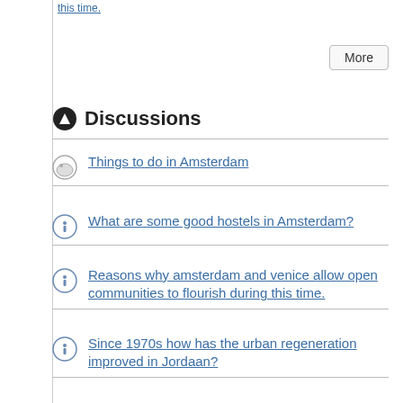this time.
Things to do in Amsterdam
What are some good hostels in Amsterdam?
Reasons why amsterdam and venice allow open communities to flourish during this time.
Since 1970s how has the urban regeneration improved in Jordaan?
How is the land area in amsterdam